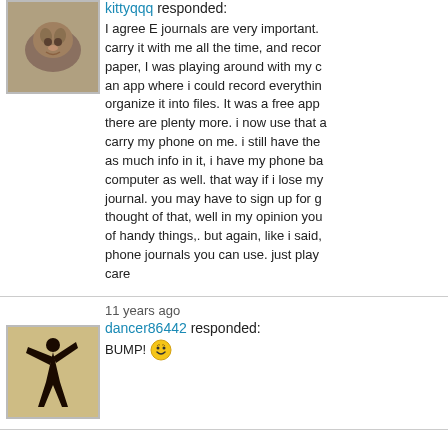[Figure (photo): Avatar photo of a cat]
kittyqqq responded:
I agree E journals are very important. carry it with me all the time, and record paper, I was playing around with my c an app where i could record everything organize it into files. It was a free app there are plenty more. i now use that carry my phone on me. i still have the as much info in it, i have my phone ba computer as well. that way if i lose my journal. you may have to sign up for g thought of that, well in my opinion you of handy things,. but again, like i said, phone journals you can use. just play care
11 years ago
[Figure (photo): Avatar photo of a dancer silhouette]
dancer86442 responded:
BUMP!